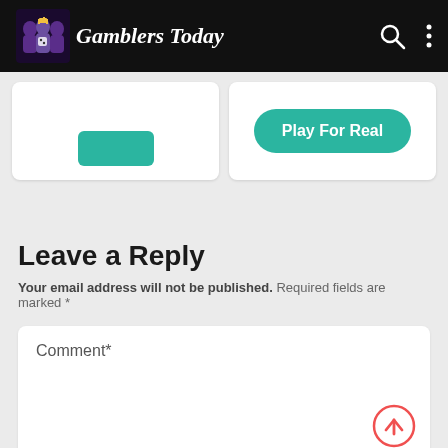Gamblers Today — navigation bar with logo, search icon, and menu icon
[Figure (screenshot): Two card elements — left card shows a teal button partially cropped, right card shows a 'Play For Real' teal pill button on a white card]
Leave a Reply
Your email address will not be published. Required fields are marked *
Comment*